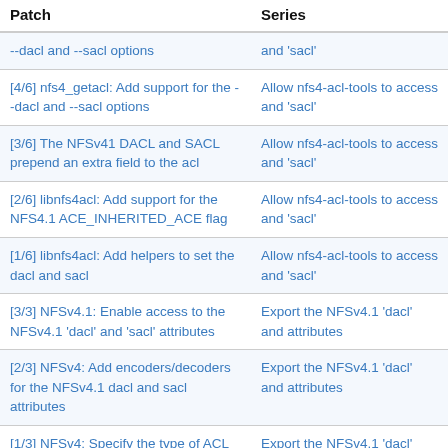| Patch | Series |
| --- | --- |
| --dacl and --sacl options | and 'sacl' |
| [4/6] nfs4_getacl: Add support for the --dacl and --sacl options | Allow nfs4-acl-tools to access and 'sacl' |
| [3/6] The NFSv41 DACL and SACL prepend an extra field to the acl | Allow nfs4-acl-tools to access and 'sacl' |
| [2/6] libnfs4acl: Add support for the NFS4.1 ACE_INHERITED_ACE flag | Allow nfs4-acl-tools to access and 'sacl' |
| [1/6] libnfs4acl: Add helpers to set the dacl and sacl | Allow nfs4-acl-tools to access and 'sacl' |
| [3/3] NFSv4.1: Enable access to the NFSv4.1 'dacl' and 'sacl' attributes | Export the NFSv4.1 'dacl' and attributes |
| [2/3] NFSv4: Add encoders/decoders for the NFSv4.1 dacl and sacl attributes | Export the NFSv4.1 'dacl' and attributes |
| [1/3] NFSv4: Specify the type of ACL to cache | Export the NFSv4.1 'dacl' and attributes |
| [v3,5/5] NFS: Don't report errors from nfs_pageio_complete() more than once | Ensure mapping errors are reported only once |
| [v3,4/5] NFS: Do not report flush | Ensure mapping errors are |